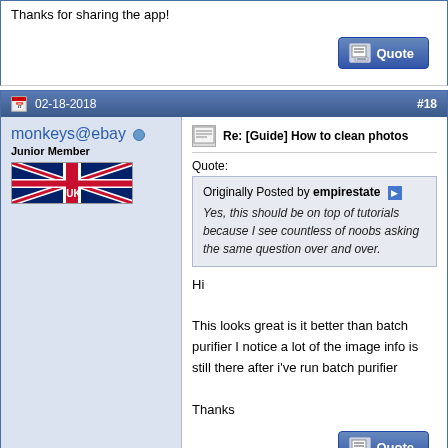Thanks for sharing the app!
02-18-2018   #18
monkeys@ebay
Junior Member
Re: [Guide] How to clean photos
Quote:
Originally Posted by empirestate
Yes, this should be on top of tutorials because I see countless of noobs asking the same question over and over.
Hi

This looks great is it better than batch purifier I notice a lot of the image info is still there after i've run batch purifier

Thanks
05-25-2018   #19